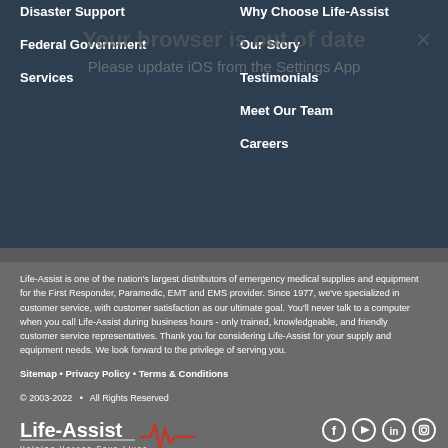Disaster Support
Federal Government
Services
Why Choose Life-Assist
Our Story
Testimonials
Meet Our Team
Careers
Your browser is out of date
Please update iOS from the Settings App
Life-Assist is one of the nation's largest distributors of emergency medical supplies and equipment for the First Responder, Paramedic, EMT and EMS provider. Since 1977, we've specialized in customer service, with customer satisfaction as our ultimate goal. You'll never talk to a computer when you call Life-Assist during business hours - only trained, knowledgeable, and friendly customer service representatives. Thank you for considering Life-Assist for your supply and equipment needs. We look forward to the privilege of serving you.
Sitemap • Privacy Policy • Terms & Conditions
© 2003-2022  •  All Rights Reserved
[Figure (logo): Life-Assist logo with heartbeat/EKG line graphic and tagline 'Helping Heroes Save Lives']
[Figure (infographic): Social media icons: Facebook, YouTube, LinkedIn, Instagram — white circle outlines]